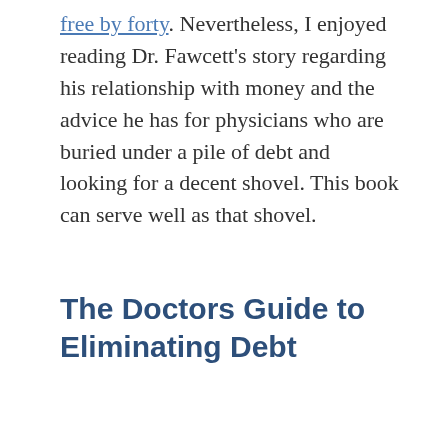free by forty. Nevertheless, I enjoyed reading Dr. Fawcett's story regarding his relationship with money and the advice he has for physicians who are buried under a pile of debt and looking for a decent shovel. This book can serve well as that shovel.
The Doctors Guide to Eliminating Debt